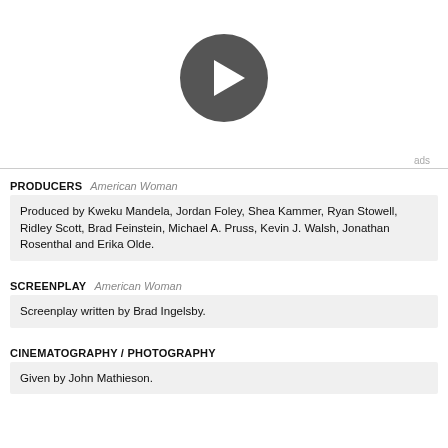[Figure (other): Video play button: dark gray circle with white right-pointing triangle in center]
ads
PRODUCERS   American Woman
Produced by Kweku Mandela, Jordan Foley, Shea Kammer, Ryan Stowell, Ridley Scott, Brad Feinstein, Michael A. Pruss, Kevin J. Walsh, Jonathan Rosenthal and Erika Olde.
SCREENPLAY   American Woman
Screenplay written by Brad Ingelsby.
CINEMATOGRAPHY / PHOTOGRAPHY
Given by John Mathieson.